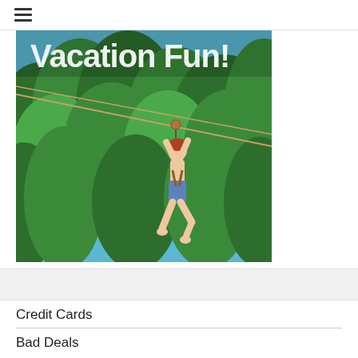☰
[Figure (photo): Person zip-lining through green forested area with blue sky visible, with text 'Vacation Fun!' overlaid in white bold letters at the top of the image]
Credit Cards
Bad Deals